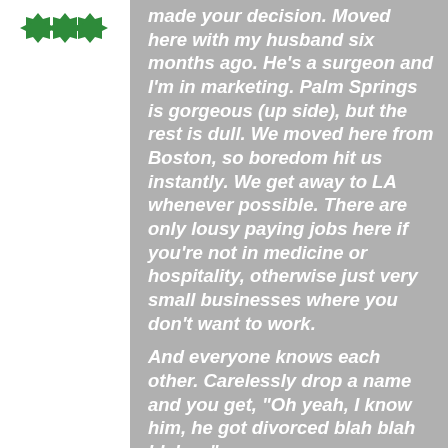[Figure (logo): Green logo with gear/cog-like shapes arranged in a row on white background]
made your decision. Moved here with my husband six months ago. He's a surgeon and I'm in marketing. Palm Springs is gorgeous (up side), but the rest is dull. We moved here from Boston, so boredom hit us instantly. We get away to LA whenever possible. There are only lousy paying jobs here if you're not in medicine or hospitality, otherwise just very small businesses where you don't want to work. And everyone knows each other. Carelessly drop a name and you get, "Oh yeah, I know him, he got divorced blah blah blah…."

Also, people who've been here a while think they're way more important than they are. They've been stuck here so long, it never